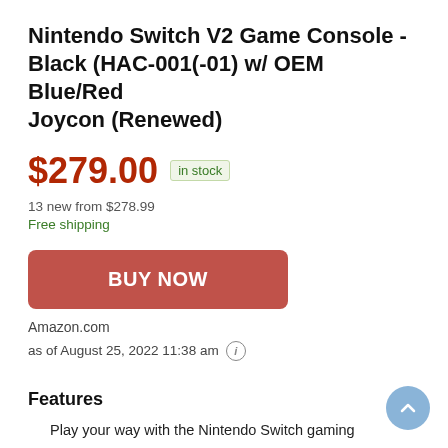Nintendo Switch V2 Game Console - Black (HAC-001(-01) w/ OEM Blue/Red Joycon (Renewed)
$279.00  in stock
13 new from $278.99
Free shipping
BUY NOW
Amazon.com
as of August 25, 2022 11:38 am
Features
Play your way with the Nintendo Switch gaming system. Whether you're at home or on the go, solo